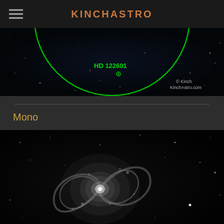KINCHASTRO
[Figure (photo): Astronomy star field with green circle annotation marking HD 122601, with copyright Kinch / KinchAstro.com]
Mono
[Figure (photo): Monochrome image of a spiral galaxy (pinwheel galaxy) with surrounding star field]